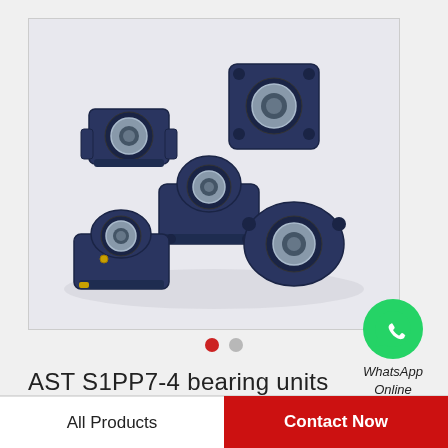[Figure (photo): Multiple blue/dark navy colored bearing units arranged on a white background, showing different types including flange mount, pillow block, and take-up bearing units with stainless steel inner rings.]
[Figure (logo): WhatsApp green circle icon with white phone handset symbol, with text 'WhatsApp Online' below in italic.]
WhatsApp
Online
AST S1PP7-4 bearing units
All Products
Contact Now